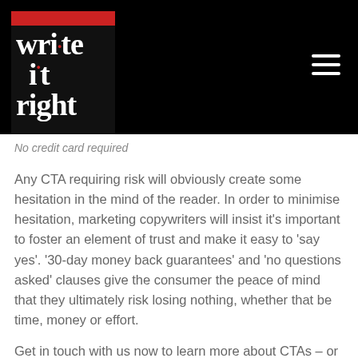[Figure (logo): Write It Right logo — black square with red top bar, white serif text reading 'write it right' with red dot accents on the letters i]
No credit card required
Any CTA requiring risk will obviously create some hesitation in the mind of the reader. In order to minimise hesitation, marketing copywriters will insist it's important to foster an element of trust and make it easy to 'say yes'. '30-day money back guarantees' and 'no questions asked' clauses give the consumer the peace of mind that they ultimately risk losing nothing, whether that be time, money or effort.
Get in touch with us now to learn more about CTAs – or have